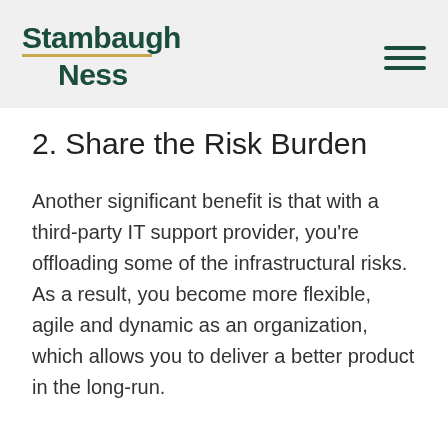Stambaugh Ness
2. Share the Risk Burden
Another significant benefit is that with a third-party IT support provider, you’re offloading some of the infrastructural risks. As a result, you become more flexible, agile and dynamic as an organization, which allows you to deliver a better product in the long-run.